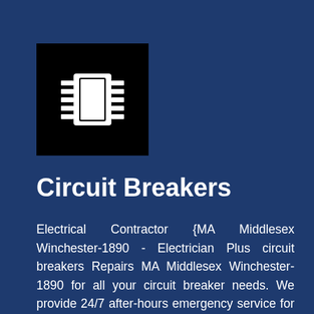[Figure (logo): Black square containing a white circuit chip / microchip icon with pins on both sides]
Circuit Breakers
Electrical Contractor {MA Middlesex Winchester-1890 - Electrician Plus circuit breakers Repairs MA Middlesex Winchester-1890 for all your circuit breaker needs. We provide 24/7 after-hours emergency service for residential and commercial customers in MA Middlesex Winchester-1890. Call (833) 433-1993 for a free estimate. Electrician Plus can solve all of your electrical problems including home and business circuit breakers, replacement and new installations. We are IICRC Certified Master Electricians who know how to repair every type of